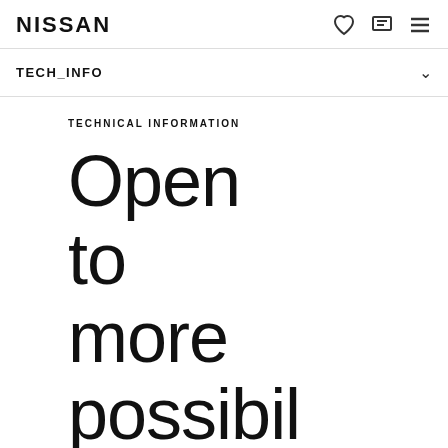NISSAN
TECH_INFO
TECHNICAL INFORMATION
Open to more possibilities